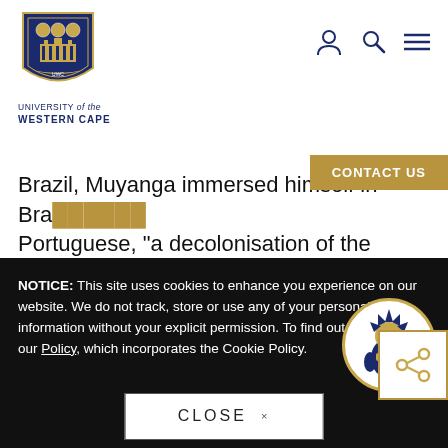[Figure (logo): University of Western Cape crest/shield logo in navy blue and gold]
UNIVERSITY of the WESTERN CAPE
[Figure (infographic): Navigation icons: person/account icon, search icon, hamburger menu icon]
CONTACT US
Brazil, Muyanga immersed himself in Bra... Portuguese, “a decolonisation of the colonial language”, and the Yoruba traditions of Salvador, including the Candomblé religion. “To be interested... Africa in Brazil is to be interested and curious abou... West Africans today,” says Muyanga, a powerful counterweight to South African prejudices about our
[Figure (other): Share icon (network/sharing symbol) in gold/orange color inside a white box with gold border]
NOTICE: This site uses cookies to enhance you experience on our website. We do not track, store or use any of your personal information without your explicit permission. To find out more, read our Policy, which incorporates the Cookie Policy.
[Figure (illustration): UWC mascot character - a stylized creature in navy blue outfit with a distinctive crown/spike head, inside a circular frame]
CLOSE ×